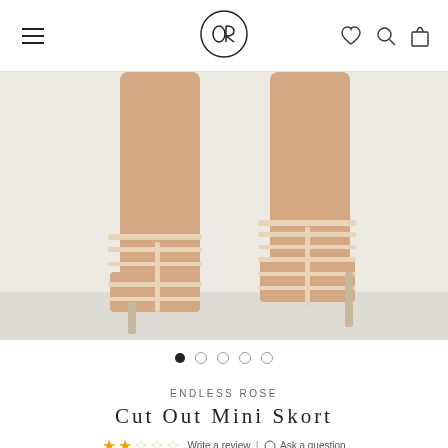Endless Rose navigation header with hamburger menu, OR logo, and icons
[Figure (photo): Close-up photo of a model's legs wearing nude strappy heeled sandals against a white background]
● ○ ○ ○ ○  (carousel dots)
ENDLESS ROSE
Cut Out Mini Skort
★★☆☆☆  Write a review  |  Ask a question